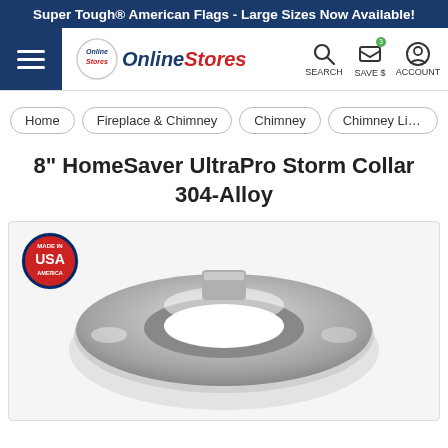Super Tough® American Flags - Large Sizes Now Available!
[Figure (screenshot): Online Stores navigation header with hamburger menu, logo, search, save $, and account icons]
Home | Fireplace & Chimney | Chimney | Chimney Liner Pipe
8" HomeSaver UltraPro Storm Collar 304-Alloy
[Figure (photo): Product photo of an 8 inch HomeSaver UltraPro Storm Collar made of 304-Alloy stainless steel, showing a round metallic collar with a central hole, featuring a Made in USA badge in the top left corner]